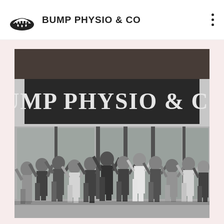BUMP PHYSIO & CO
[Figure (photo): Black and white photo of a group of approximately 14 women jumping and celebrating with arms raised in front of the Bump Physio & Co building facade, which has a large illuminated sign reading 'BUMP PHYSIO & CO'. The storefront has large glass windows. The photo is displayed on a light pink background.]